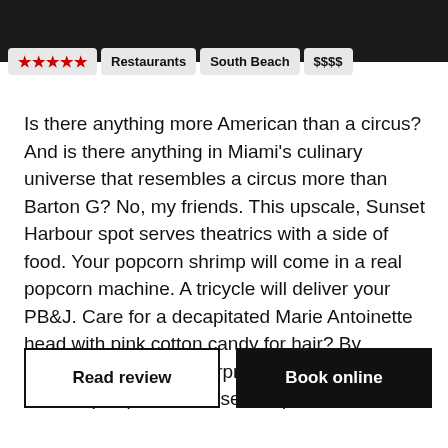★★★★★  Restaurants  South Beach  $$$$
Is there anything more American than a circus? And is there anything in Miami's culinary universe that resembles a circus more than Barton G? No, my friends. This upscale, Sunset Harbour spot serves theatrics with a side of food. Your popcorn shrimp will come in a real popcorn machine. A tricycle will deliver your PB&J. Care for a decapitated Marie Antoinette head with pink cotton candy for hair? By dessert, nothing will surprise you. And you'll leave equal parts confused, impressed and full.
Read review
Book online